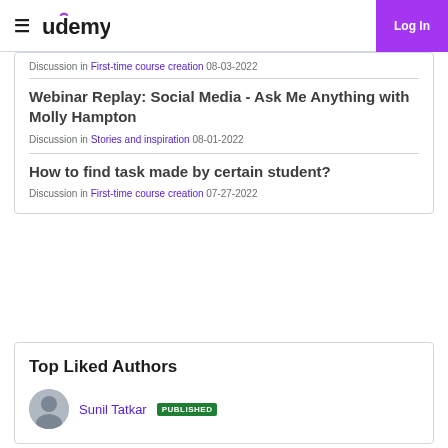Udemy — Log In
Discussion in First-time course creation 08-03-2022
Webinar Replay: Social Media - Ask Me Anything with Molly Hampton
Discussion in Stories and inspiration 08-01-2022
How to find task made by certain student?
Discussion in First-time course creation 07-27-2022
Top Liked Authors
Sunil Tatkar PUBLISHED